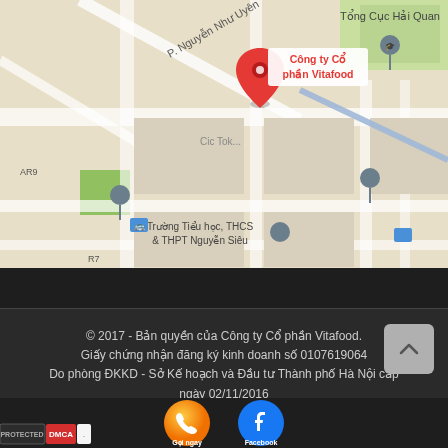[Figure (map): Google Maps screenshot showing location of Công ty Cổ phần Vitafood in Hanoi, Vietnam. Map shows streets including P. Nguyễn Như Uyên, landmarks CT2 A10 Nam Trung Yên, Chelsea Park Apartment, Trường Tiểu học THCS & THPT Nguyễn Siêu, Tổng Cục Hải Quan. A red map pin marks the company location with label 'Công ty Cổ phần Vitafood' in red text.]
© 2017 - Bản quyền của Công ty Cổ phần Vitafood. Giấy chứng nhận đăng ký kinh doanh số 0107619064 Do phòng ĐKKD - Sở Kế hoạch và Đầu tư Thành phố Hà Nội cấp ngày 02/11/2016
[Figure (logo): PROTECTED DMCA badge in bottom left]
[Figure (illustration): Orange phone call button labeled 'Gọi ngay']
[Figure (illustration): Blue Facebook button labeled 'Facebook']